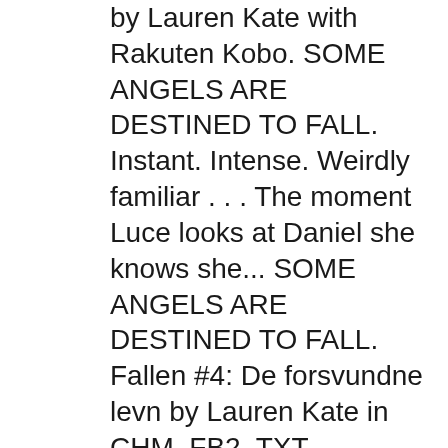by Lauren Kate with Rakuten Kobo. SOME ANGELS ARE DESTINED TO FALL. Instant. Intense. Weirdly familiar . . . The moment Luce looks at Daniel she knows she... SOME ANGELS ARE DESTINED TO FALL. Fallen #4: De forsvundne levn by Lauren Kate in CHM, FB2, TXT download e-book.
Fallen Series Fallen Book Fallen Angels Fallen Novel I Love Books Great Books Books To Read My Books Book Club Books Forward The Lauren Kate Fallen Series Ebook Sampler is the ultimate FREE introduction to the New York Times bestselling series Fallen, the worldwide phenomenon. This is Lauren Kate's fourth novel, the third in a